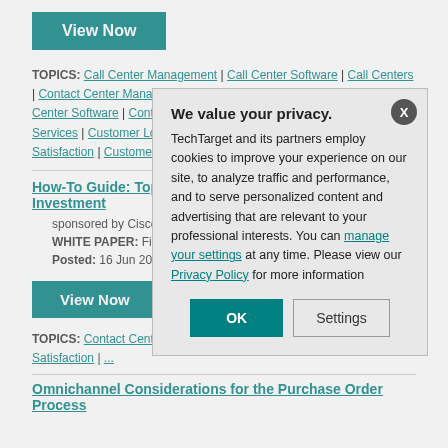View Now (button)
TOPICS: Call Center Management | Call Center Software | Call Centers | Contact Center Management | Contact Center Services | Contact Center Software | Contact Centers | CRM | Customer Interaction Services | Customer Loyalty | Customer Retention | Customer Satisfaction | Customer Service
How-To Guide: Top W... Investment
sponsored by Cisco
WHITE PAPER: Fin... contact center runs f...
Posted: 16 Jun 201...
View Now (button 2)
TOPICS: Contact Cente... Software | Contact Cent... Customer Satisfaction | ...
Omnichannel Considerations for the Purchase Order Process
We value your privacy. TechTarget and its partners employ cookies to improve your experience on our site, to analyze traffic and performance, and to serve personalized content and advertising that are relevant to your professional interests. You can manage your settings at any time. Please view our Privacy Policy for more information